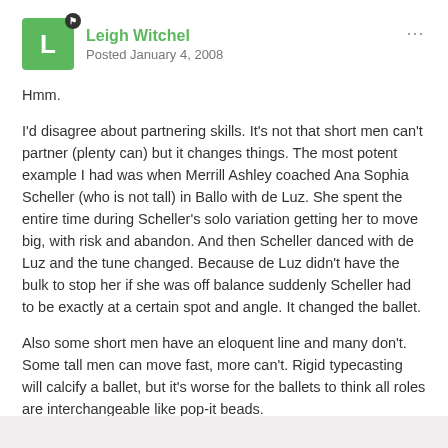Leigh Witchel — Posted January 4, 2008
Hmm.
I'd disagree about partnering skills. It's not that short men can't partner (plenty can) but it changes things. The most potent example I had was when Merrill Ashley coached Ana Sophia Scheller (who is not tall) in Ballo with de Luz. She spent the entire time during Scheller's solo variation getting her to move big, with risk and abandon. And then Scheller danced with de Luz and the tune changed. Because de Luz didn't have the bulk to stop her if she was off balance suddenly Scheller had to be exactly at a certain spot and angle. It changed the ballet.
Also some short men have an eloquent line and many don't. Some tall men can move fast, more can't. Rigid typecasting will calcify a ballet, but it's worse for the ballets to think all roles are interchangeable like pop-it beads.